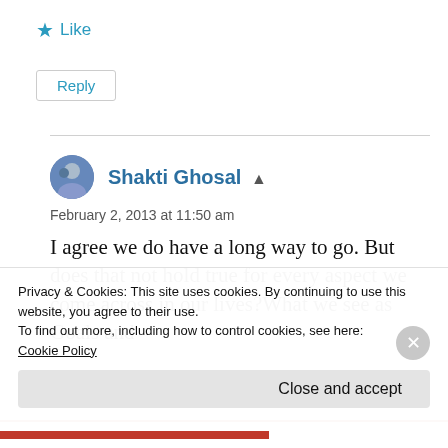★ Like
Reply
Shakti Ghosal
February 2, 2013 at 11:50 am
I agree we do have a long way to go. But does that not hold true for every aspect we come across in our lives?What we see as Goals and
Privacy & Cookies: This site uses cookies. By continuing to use this website, you agree to their use.
To find out more, including how to control cookies, see here:
Cookie Policy
Close and accept